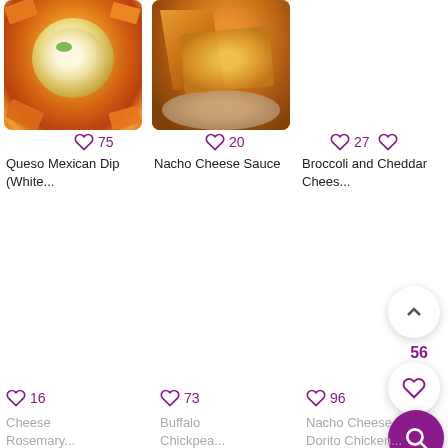[Figure (photo): Queso Mexican Dip with white cheese sauce in bowl surrounded by tortilla chips]
75
Queso Mexican Dip (White...
[Figure (photo): Nacho Cheese Sauce close up with tortilla chip dipping into melted orange cheese]
20
Nacho Cheese Sauce
27
Broccoli and Cheddar Chees...
[Figure (screenshot): Up arrow floating action button]
56
[Figure (screenshot): Heart floating action button]
[Figure (screenshot): Purple search floating action button]
16
Cheese Rosemary...
73
Buffalo Chickpea...
96
Nacho Cheese Dorito Chicken...